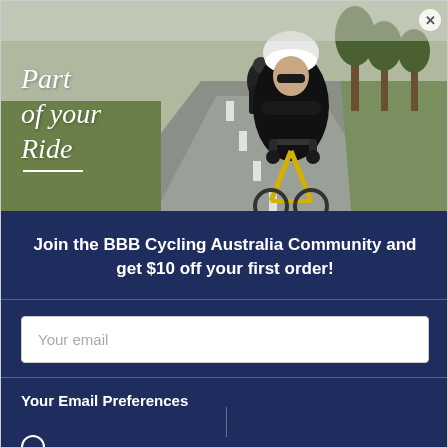[Figure (photo): Two cyclists riding on a road in black athletic gear. The lead cyclist is in the foreground wearing a white helmet, black sunglasses, and riding a yellow road bike. Overlaid text reads 'Part of your Ride' in white handwriting script.]
Join the BBB Cycling Australia Community and get $10 off your first order!
Your email
Your Email Preferences